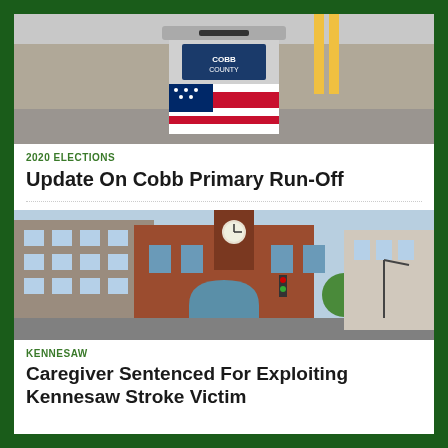[Figure (photo): Photo of a Cobb County ballot drop box with American flag design, outdoors on pavement]
2020 ELECTIONS
Update On Cobb Primary Run-Off
[Figure (photo): Photo of a red brick building with clock tower, street view, likely a government or civic building in Kennesaw]
KENNESAW
Caregiver Sentenced For Exploiting Kennesaw Stroke Victim